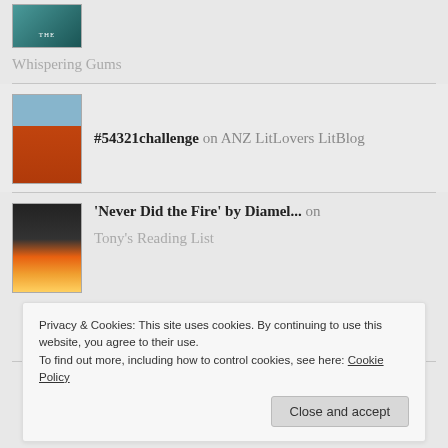[Figure (photo): Small teal book cover thumbnail at top left]
Whispering Gums
[Figure (photo): Book cover thumbnail with blue sky and brick wall]
#54321challenge on ANZ LitLovers LitBlog
[Figure (photo): Book cover thumbnail with fire/hands imagery]
'Never Did the Fire' by Diamel... on
Tony's Reading List
Privacy & Cookies: This site uses cookies. By continuing to use this website, you agree to their use.
To find out more, including how to control cookies, see here: Cookie Policy
Close and accept